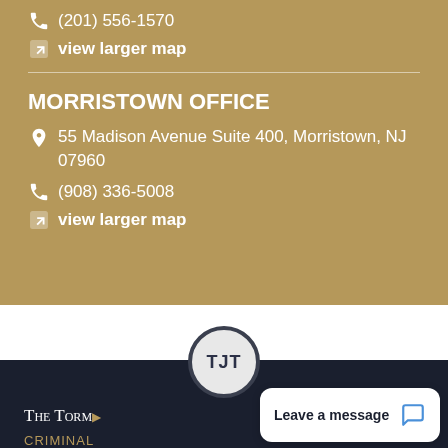(201) 556-1570
view larger map
MORRISTOWN OFFICE
55 Madison Avenue Suite 400, Morristown, NJ 07960
(908) 336-5008
view larger map
[Figure (logo): TJT circular logo badge on dark background]
THE TORM... CRIMINAL
Leave a message